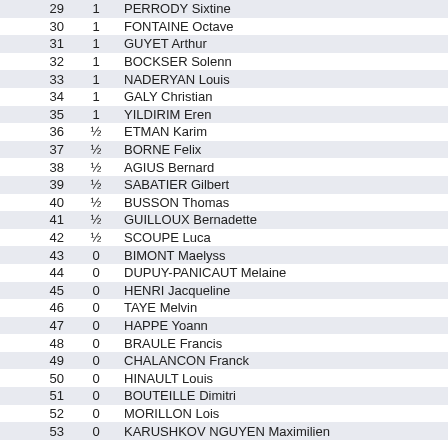| # | Score | Name |
| --- | --- | --- |
| 29 | 1 | PERRODY Sixtine |
| 30 | 1 | FONTAINE Octave |
| 31 | 1 | GUYET Arthur |
| 32 | 1 | BOCKSER Solenn |
| 33 | 1 | NADERYAN Louis |
| 34 | 1 | GALY Christian |
| 35 | 1 | YILDIRIM Eren |
| 36 | ½ | ETMAN Karim |
| 37 | ½ | BORNE Felix |
| 38 | ½ | AGIUS Bernard |
| 39 | ½ | SABATIER Gilbert |
| 40 | ½ | BUSSON Thomas |
| 41 | ½ | GUILLOUX Bernadette |
| 42 | ½ | SCOUPE Luca |
| 43 | 0 | BIMONT Maelyss |
| 44 | 0 | DUPUY-PANICAUT Melaine |
| 45 | 0 | HENRI Jacqueline |
| 46 | 0 | TAYE Melvin |
| 47 | 0 | HAPPE Yoann |
| 48 | 0 | BRAULE Francis |
| 49 | 0 | CHALANCON Franck |
| 50 | 0 | HINAULT Louis |
| 51 | 0 | BOUTEILLE Dimitri |
| 52 | 0 | MORILLON Lois |
| 53 | 0 | KARUSHKOV NGUYEN Maximilien |